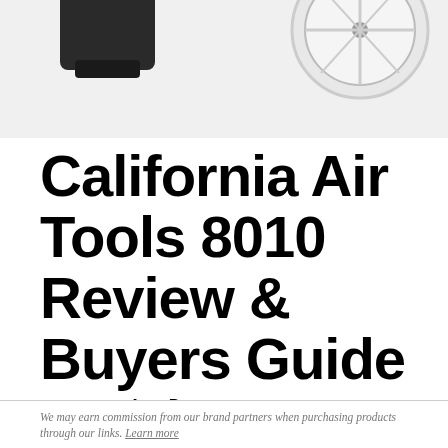[Figure (photo): Product photo of California Air Tools 8010 air compressor showing partial view with black motor housing on the left and a white wheel on the right, on a light grey background.]
California Air Tools 8010 Review & Buyers Guide
Anna Ryan
Editor
Updated: May 1, 2022
We may earn commission from our brand partners when purchasing products through our links. Learn more